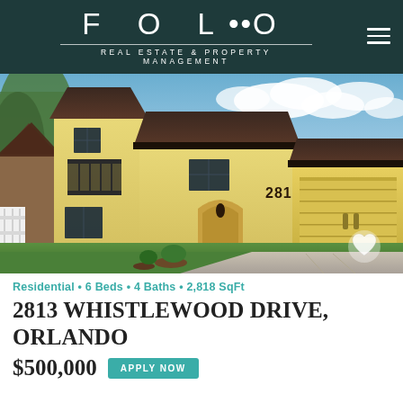FOLIO REAL ESTATE & PROPERTY MANAGEMENT
[Figure (photo): Exterior photo of a two-story yellow stucco house with dark roof, two-car garage door, and house number 2813 visible. Blue sky with clouds in background, palm trees and landscaping in foreground.]
Residential • 6 Beds • 4 Baths • 2,818 SqFt
2813 WHISTLEWOOD DRIVE, ORLANDO
$500,000